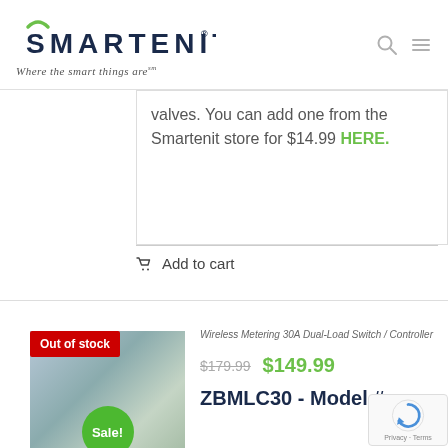[Figure (logo): Smartenit logo with green arc above the S, dark blue text 'SMARTENIT' with registered trademark symbol, tagline 'Where the smart things are' in italic, search and menu icons]
valves. You can add one from the Smartenit store for $14.99 HERE.
Add to cart
[Figure (photo): Product photo with 'Out of stock' red badge and green 'Sale!' circular badge, showing a wireless metering device]
Wireless Metering 30A Dual-Load Switch / Controller
$179.99  $149.99
ZBMLC30 - Model #